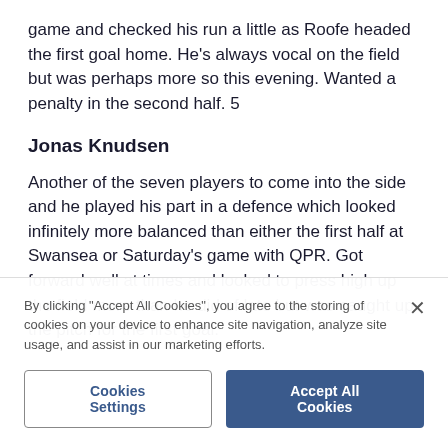game and checked his run a little as Roofe headed the first goal home. He's always vocal on the field but was perhaps more so this evening. Wanted a penalty in the second half. 5
Jonas Knudsen
Another of the seven players to come into the side and he played his part in a defence which looked infinitely more balanced than either the first half at Swansea or Saturday's game with QPR. Got forward well at times and looked to press high up the field more than he did of late but was caught up the pitch for the first goal.
By clicking "Accept All Cookies", you agree to the storing of cookies on your device to enhance site navigation, analyze site usage, and assist in our marketing efforts.